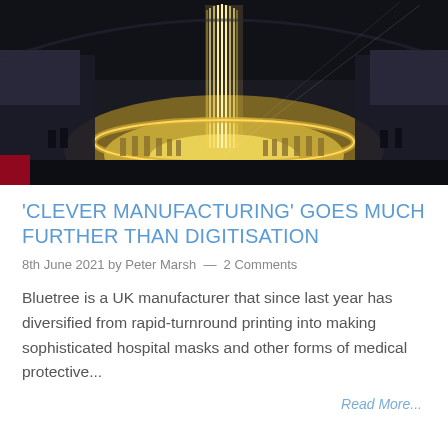[Figure (photo): A large stadium at night with a dramatic tall illuminated tower or structure in the center, surrounded by concentric circles of lights and crowds filling the stands. Appears to be an Olympic or major sporting ceremony.]
'CLEVER MANUFACTURING' GOES MUCH FURTHER THAN DIGITISATION
8th June 2021 by Peter Marsh — 2 Comments
Bluetree is a UK manufacturer that since last year has diversified from rapid-turnround printing into making sophisticated hospital masks and other forms of medical protective...
Read More...